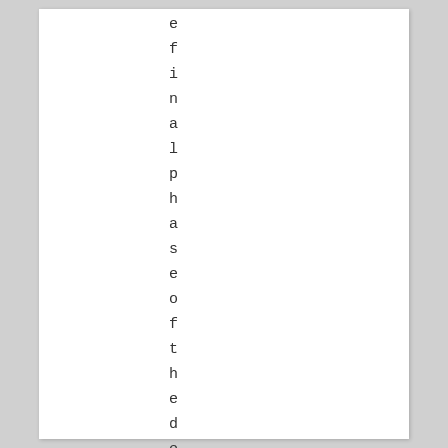e f i n a l p h a s e o f t h e d e s c e n t t o